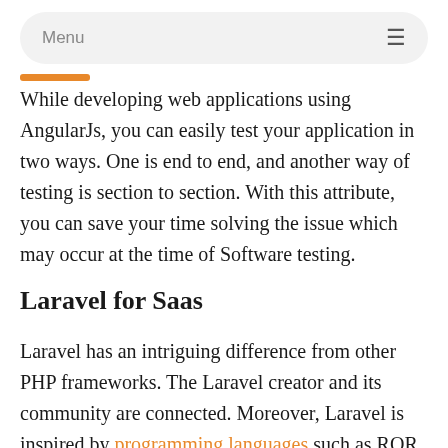Menu
While developing web applications using AngularJs, you can easily test your application in two ways. One is end to end, and another way of testing is section to section. With this attribute, you can save your time solving the issue which may occur at the time of Software testing.
Laravel for Saas
Laravel has an intriguing difference from other PHP frameworks. The Laravel creator and its community are connected. Moreover, Laravel is inspired by programming languages such as ROR ( Ruby on Rails ) and Java.